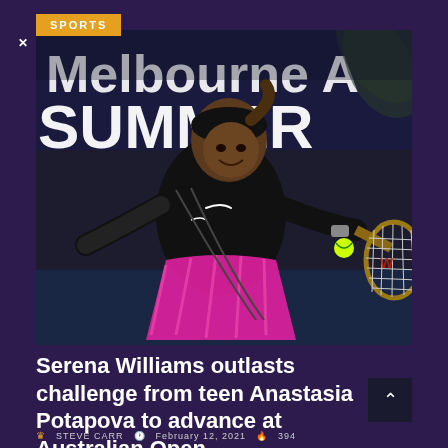SPORTS
[Figure (photo): Serena Williams hitting a backhand shot on a tennis court, wearing a black Nike jacket and pink skirt, with a Melbourne Summer sign in the background]
Serena Williams outlasts challenge from teen Anastasia Potapova to advance at Australian Open
STEVE CARR  February 12, 2021  394